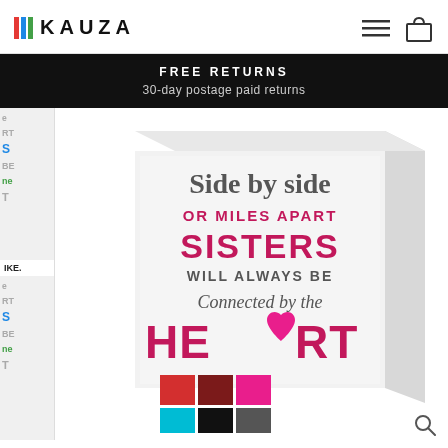KAUZA
FREE RETURNS
30-day postage paid returns
[Figure (photo): A white 3D box sign with mixed typography in dark gray and magenta/pink text reading: 'Side by side OR MILES APART SISTERS WILL ALWAYS BE Connected by the HEART' where the O in HEART is replaced by a pink heart shape. Below the sign are color swatches: red, dark red/maroon, magenta/pink on top row, cyan/teal, black, dark gray on bottom row. To the left are partial thumbnail images of the same product. A search icon is visible at bottom right.]